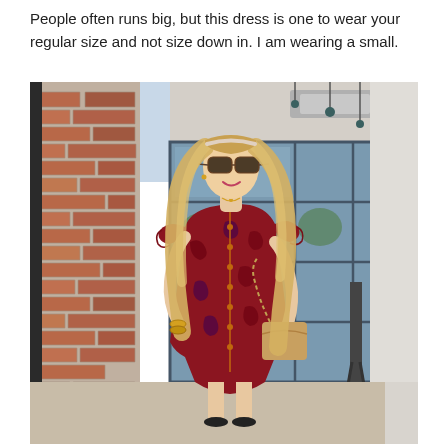People often runs big, but this dress is one to wear your regular size and not size down in. I am wearing a small.
[Figure (photo): A blonde woman wearing large sunglasses and a red floral ruffled button-front mini dress, holding a chain-strap bag, standing in front of a brick wall and large glass windows of what appears to be a restaurant or cafe.]